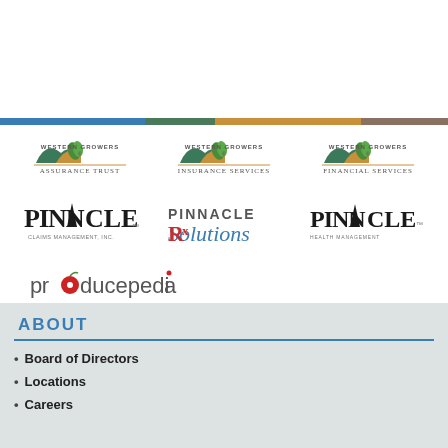[Figure (logo): Western Growers Assurance Trust logo]
[Figure (logo): Western Growers Insurance Services logo]
[Figure (logo): Western Growers Financial Services logo]
[Figure (logo): Pinnacle Claims Management, Inc. logo]
[Figure (logo): Pinnacle Rx Solutions logo]
[Figure (logo): Pinnacle Health Management logo]
[Figure (logo): producepedia logo]
ABOUT
Board of Directors
Locations
Careers